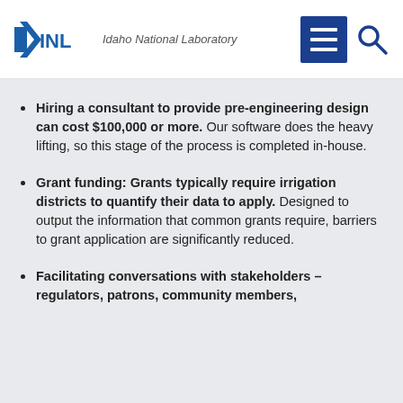INL Idaho National Laboratory
Hiring a consultant to provide pre-engineering design can cost $100,000 or more. Our software does the heavy lifting, so this stage of the process is completed in-house.
Grant funding: Grants typically require irrigation districts to quantify their data to apply. Designed to output the information that common grants require, barriers to grant application are significantly reduced.
Facilitating conversations with stakeholders – regulators, patrons, community members,